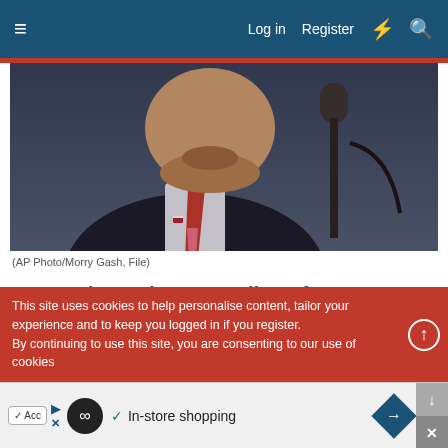≡  Log in  Register  ⚡  🔍
[Figure (photo): Close-up photo of a man in a dark suit with a red tie speaking at a microphone]
(AP Photo/Morry Gash, File)
Judge orders unsealing of redacted affidavit in Trump search
WASHINGTON (AP) — A judge ordered the Justice Department on Thursday to release a redacted version of the affidavit that...
This site uses cookies to help personalise content, tailor your experience and to keep you logged in if you register.
By continuing to use this site, you are consenting to our use of cookies
[Figure (infographic): Advertisement bar showing: Acc button, play controls, infinity logo circle, checkmark In-store shopping text, and a blue diamond arrow icon]